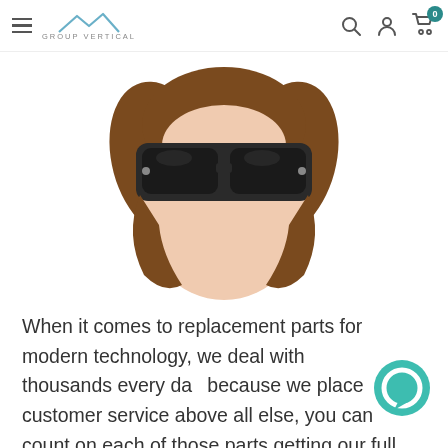GROUP VERTICAL — navigation header with hamburger menu, logo, search, account, and cart icons
[Figure (illustration): Flat vector illustration of a person's face with brown hair and black sunglasses on a white background]
When it comes to replacement parts for modern technology, we deal with thousands every day because we place customer service above all else, you can count on each of those parts getting our full